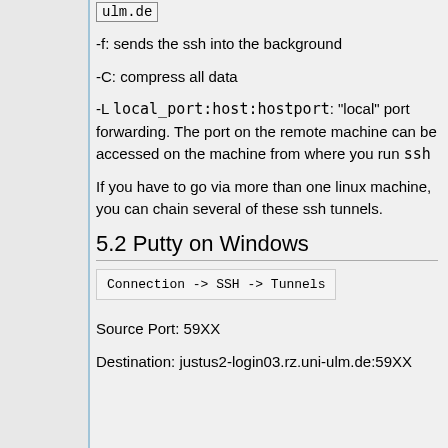ulm.de (code inline)
-f: sends the ssh into the background
-C: compress all data
-L local_port:host:hostport: "local" port forwarding. The port on the remote machine can be accessed on the machine from where you run ssh
If you have to go via more than one linux machine, you can chain several of these ssh tunnels.
5.2 Putty on Windows
Connection -> SSH -> Tunnels (code block)
Source Port: 59XX
Destination: justus2-login03.rz.uni-ulm.de:59XX